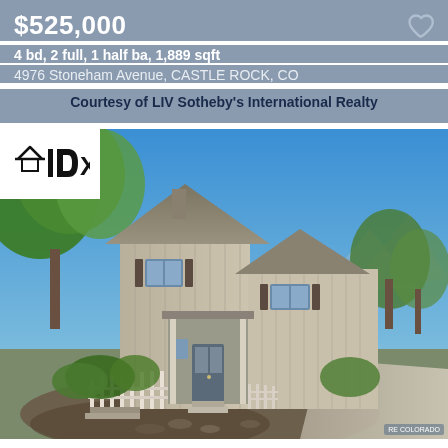$525,000
4 bd, 2 full, 1 half ba, 1,889 sqft
4976 Stoneham Avenue, CASTLE ROCK, CO
Courtesy of LIV Sotheby's International Realty
[Figure (photo): Exterior photo of a two-story craftsman-style home in Castle Rock, CO. The house has gray/beige board-and-batten siding with dark shutters, a covered front porch, white picket fence, lush green trees and landscaping in front, and a blue sky with mountains visible in the background. IDX logo in upper left corner.]